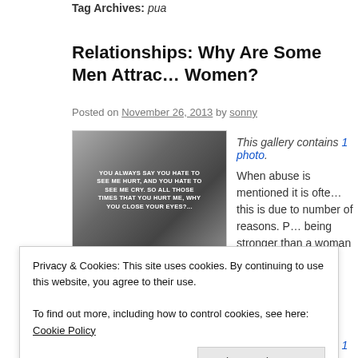Tag Archives: pua
Relationships: Why Are Some Men Attracted to Damaged Women?
Posted on November 26, 2013 by sonny
[Figure (photo): Image with white text overlaid: YOU ALWAYS SAY YOU HATE TO SEE ME HURT, AND YOU HATE TO SEE ME CRY. SO ALL THOSE TIMES THAT YOU HURT ME, WHY DID YOU CLOSE YOUR EYES?]
This gallery contains 1 photo.
When abuse is mentioned it is often... this is due to number of reasons. P... being stronger than a woman and s...
Continue reading →
More Galleries | Tagged abuse, calgary, emotional abuse, hypnotherapy, kelo... seduction | Leave a comment
Privacy & Cookies: This site uses cookies. By continuing to use this website, you agree to their use.
To find out more, including how to control cookies, see here: Cookie Policy
Close and accept
This gallery contains 1 photo.